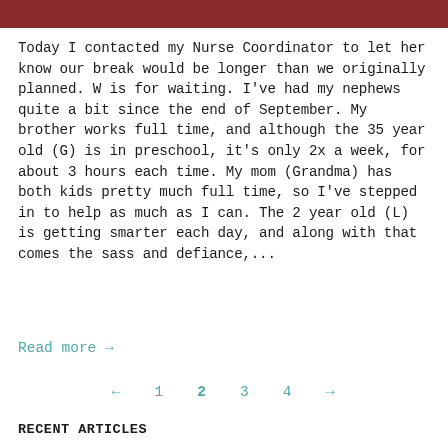[Figure (photo): Red/brown wood grain textured banner at top of page]
Today I contacted my Nurse Coordinator to let her know our break would be longer than we originally planned. W is for waiting. I've had my nephews quite a bit since the end of September. My brother works full time, and although the 35 year old (G) is in preschool, it's only 2x a week, for about 3 hours each time. My mom (Grandma) has both kids pretty much full time, so I've stepped in to help as much as I can. The 2 year old (L) is getting smarter each day, and along with that comes the sass and defiance,...
Read more →
← 1 2 3 4 →
RECENT ARTICLES